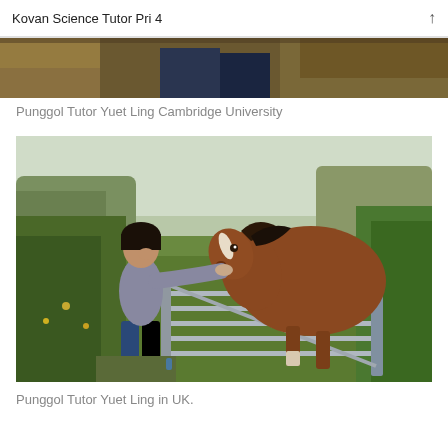Kovan Science Tutor Pri 4
[Figure (photo): Partial photo visible at top of page, appears to show people outdoors with autumn foliage]
Punggol Tutor Yuet Ling Cambridge University
[Figure (photo): Woman in grey sweater and blue jeans standing at a metal farm gate, petting a brown horse in a green countryside field with hedges and trees in the background. UK countryside setting.]
Punggol Tutor Yuet Ling in UK.